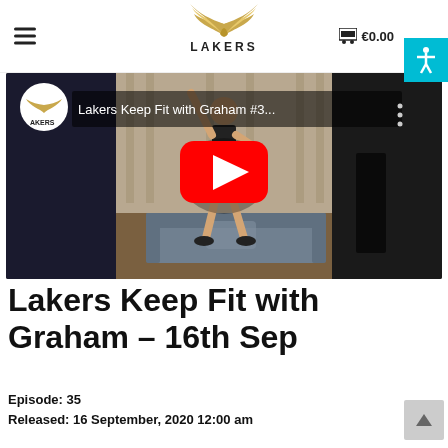≡  LAKERS  🛒 €0.00
[Figure (screenshot): YouTube video thumbnail showing a man exercising in a living room, with Lakers logo in top-left corner and title 'Lakers Keep Fit with Graham #3...' and a red YouTube play button in the center.]
Lakers Keep Fit with Graham – 16th Sep
Episode: 35
Released: 16 September, 2020 12:00 am